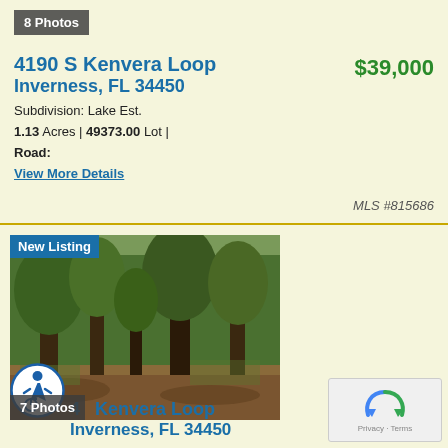[Figure (photo): Photo badge showing '8 Photos' on dark background]
4190 S Kenvera Loop
Inverness, FL 34450
$39,000
Subdivision: Lake Est.
1.13 Acres | 49373.00 Lot |
Road:
View More Details
MLS #815686
[Figure (photo): Wooded land lot with trees and dirt ground, showing 'New Listing' badge and '7 Photos' badge]
4 Kenvera Loop
Inverness, FL 34450